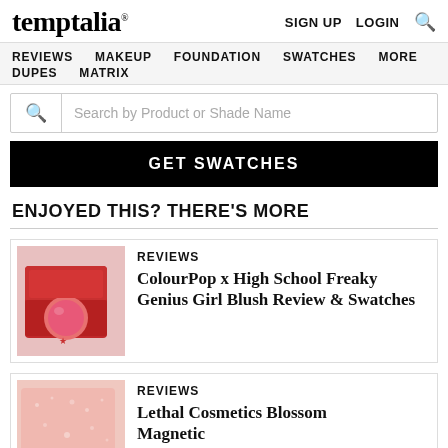temptalia® | SIGN UP | LOGIN | 🔍
REVIEWS | MAKEUP | FOUNDATION | SWATCHES | MORE | DUPES | MATRIX
Search by Product or Shade Name
GET SWATCHES
ENJOYED THIS? THERE'S MORE
REVIEWS
ColourPop x High School Freaky Genius Girl Blush Review & Swatches
[Figure (photo): Red compact blush product with pink blush pan open]
REVIEWS
Lethal Cosmetics Blossom Magnetic
Face Powder Review & Swatches
[Figure (photo): Pink shimmery loose powder swatch or pan]